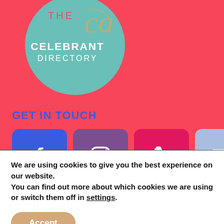[Figure (logo): The Celebrant Directory logo: teal circle with 'THE CELEBRANT DIRECTORY' text and stylized 'ca' script]
GET IN TOUCH
[Figure (infographic): Four social media/contact icon buttons: Facebook (blue), Instagram (purple), Phone (pink/magenta), Email (light blue)]
We are using cookies to give you the best experience on our website.
You can find out more about which cookies we are using or switch them off in settings.
Accept